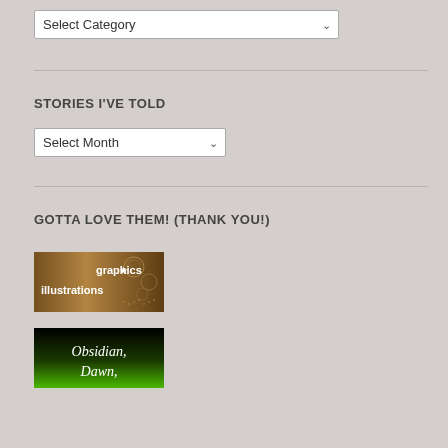[Figure (screenshot): Select Category dropdown box]
STORIES I'VE TOLD
[Figure (screenshot): Select Month dropdown box]
GOTTA LOVE THEM! (THANK YOU!)
[Figure (illustration): graphics* illustrations banner image with steampunk/vintage brown background]
[Figure (illustration): Obsidian Dawn logo banner with black and green background and cursive text]